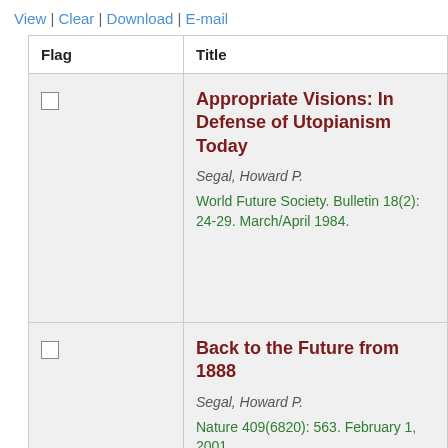View | Clear | Download | E-mail
| Flag | Title |
| --- | --- |
| ☐ | Appropriate Visions: In Defense of Utopianism Today
Segal, Howard P.
World Future Society. Bulletin 18(2): 24-29. March/April 1984. |
| ☐ | Back to the Future from 1888
Segal, Howard P.
Nature 409(6820): 563. February 1, 2001. |